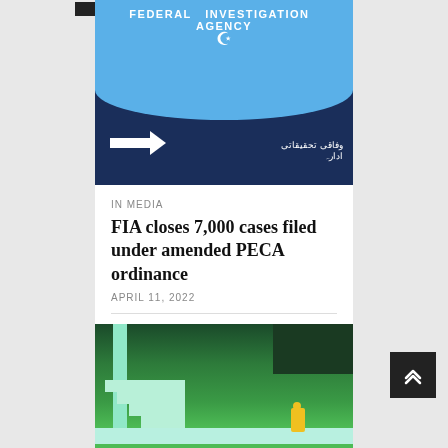[Figure (photo): Federal Investigation Agency (FIA) sign board with blue background showing 'FEDERAL INVESTIGATION AGENCY' text in an arc, with a white arrow pointing right and Urdu text below]
IN MEDIA
FIA closes 7,000 cases filed under amended PECA ordinance
APRIL 11, 2022
[Figure (photo): Green-themed abstract art or stage set showing staircase steps on left side in mint/teal color, dark green background, with a small yellow human figure standing on a white platform on the right]